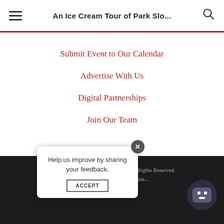An Ice Cream Tour of Park Slo...
Submit Event to Our Calendar
Advertise With Us
Digital Partnerships
Join Our Team
Copyright ©2022, Edible Brooklyn. All Rights Reserved. Our site uses cookies. Lea... okie... ACCEPT
Help us improve by sharing your feedback. ACCEPT